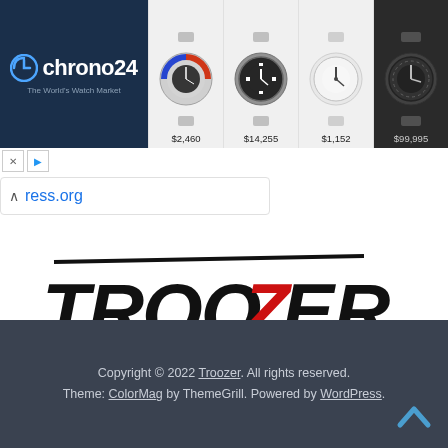[Figure (screenshot): Chrono24 advertisement banner showing watch marketplace logo and four watches with prices: $2,460, $14,255, $1,152, $99,995]
ress.org
[Figure (logo): TROOZERS logo in bold italic black text with red Z letter and horizontal line above]
Troozer is awesome platform to share your valuable thoughts and grow up. !!!
Copyright © 2022 Troozer. All rights reserved. Theme: ColorMag by ThemeGrill. Powered by WordPress.